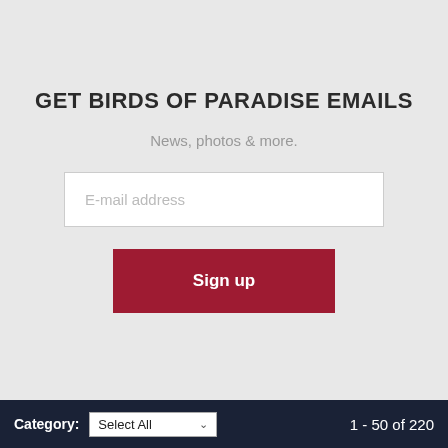GET BIRDS OF PARADISE EMAILS
News, photos & more.
[Figure (screenshot): E-mail address input field (text box with placeholder 'E-mail address')]
[Figure (screenshot): Red 'Sign up' button]
Category: Select All   1 - 50 of 220